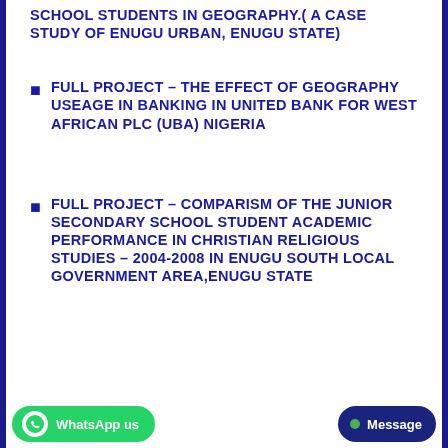SCHOOL STUDENTS IN GEOGRAPHY.( A CASE STUDY OF ENUGU URBAN, ENUGU STATE)
FULL PROJECT – THE EFFECT OF GEOGRAPHY USEAGE IN BANKING IN UNITED BANK FOR WEST AFRICAN PLC (UBA) NIGERIA
FULL PROJECT – COMPARISM OF THE JUNIOR SECONDARY SCHOOL STUDENT ACADEMIC PERFORMANCE IN CHRISTIAN RELIGIOUS STUDIES – 2004-2008 IN ENUGU SOUTH LOCAL GOVERNMENT AREA,ENUGU STATE